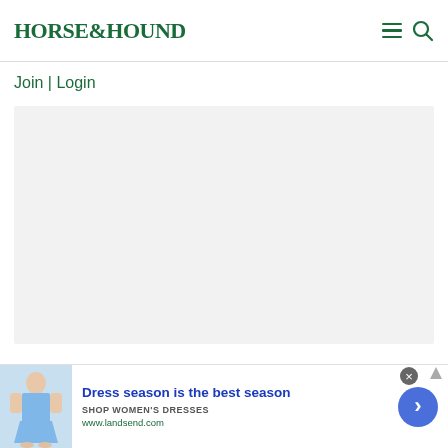HORSE&HOUND
Join | Login
[Figure (other): Large light grey placeholder content area]
[Figure (other): Advertisement banner for Lands End: 'Dress season is the best season', SHOP WOMEN'S DRESSES, www.landsend.com]